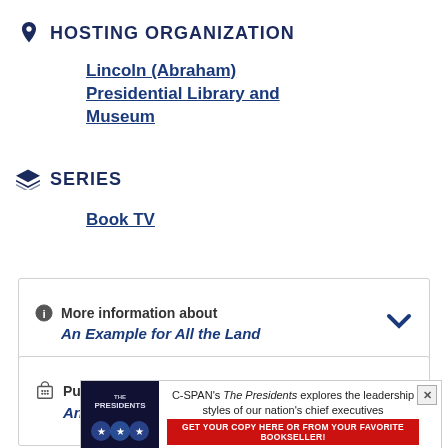HOSTING ORGANIZATION
Lincoln (Abraham) Presidential Library and Museum
SERIES
Book TV
More information about An Example for All the Land
Purchase a Download An Example for All the Land
[Figure (other): C-SPAN advertisement for The Presidents book exploring leadership styles of nation's chief executives]